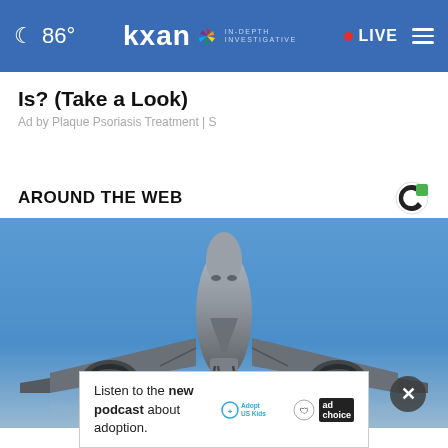86° kxan IN-DEPTH INVESTIGATIVE • LIVE
Is? (Take a Look)
Ad by Plaque Psoriasis Treatment | S
AROUND THE WEB
[Figure (photo): Commercial airplane viewed from below, front-on, against a blue sky background]
Listen to the new podcast about adoption.